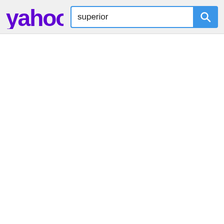[Figure (logo): Yahoo! purple logo in the header bar]
superior